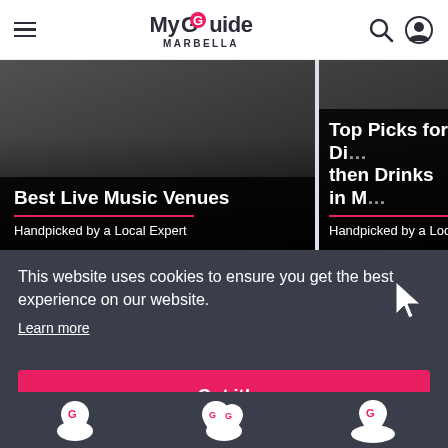My Guide Marbella
[Figure (screenshot): Card showing Best Live Music Venues - Handpicked by a Local Expert]
[Figure (screenshot): Card showing Top Picks for Di... then Drinks in M... - Handpicked by a Local]
This website uses cookies to ensure you get the best experience on our website.
Learn more
Got it!
[Figure (illustration): Bottom navigation icons with My Guide logo pins]